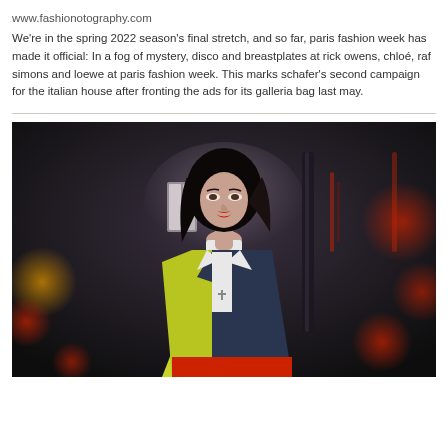www.fashionotography.com
We're in the spring 2022 season's final stretch, and so far, paris fashion week has made it official: In a fog of mystery, disco and breastplates at rick owens, chloé, raf simons and loewe at paris fashion week. This marks schafer's second campaign for the italian house after fronting the ads for its galleria bag last may.
[Figure (photo): A model with long dark hair and red lipstick wearing a two-tone jacket (navy blue and yellow-green) with a white shirt and small cross necklace, walking on a runway with a dark bokeh background featuring red and yellow lights.]